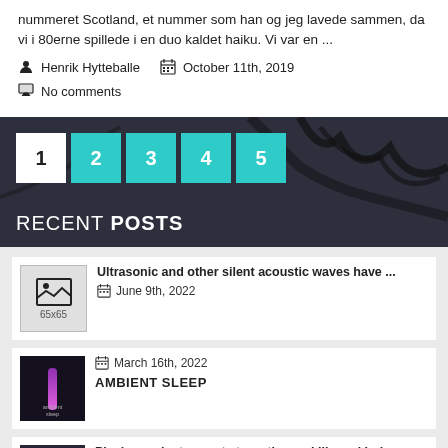nummeret Scotland, et nummer som han og jeg lavede sammen, da vi i 80erne spillede i en duo kaldet haiku. Vi var en ...
Henrik Hytteballe   October 11th, 2019
No comments
1 2 3 4 5
RECENT POSTS
Ultrasonic and other silent acoustic waves have ...   June 9th, 2022
March 16th, 2022   AMBIENT SLEEP
Playing an instrument strengthens skills and bui